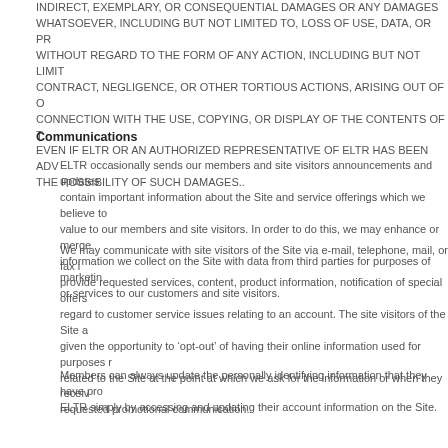INDIRECT, EXEMPLARY, OR CONSEQUENTIAL DAMAGES OR ANY DAMAGES WHATSOEVER, INCLUDING BUT NOT LIMITED TO, LOSS OF USE, DATA, OR PR WITHOUT REGARD TO THE FORM OF ANY ACTION, INCLUDING BUT NOT LIMIT CONTRACT, NEGLIGENCE, OR OTHER TORTIOUS ACTIONS, ARISING OUT OF O CONNECTION WITH THE USE, COPYING, OR DISPLAY OF THE CONTENTS OF T EVEN IF ELTR OR AN AUTHORIZED REPRESENTATIVE OF ELTR HAS BEEN ADV THE POSSIBILITY OF SUCH DAMAGES..
Communications
ELTR occasionally sends our members and site visitors announcements and updates contain important information about the Site and service offerings which we believe to value to our members and site visitors. In order to do this, we may enhance or merge information we collect on the Site with data from third parties for purposes of marketin or services to our customers and site visitors.
We may communicate with site visitors of the Site via e-mail, telephone, mail, or fax i provide requested services, content, product information, notification of special offers regard to customer service issues relating to an account. The site visitors of the Site a given the opportunity to 'opt-out' of having their online information used for purposes r related to the Site at the point at which we ask for the information or when they receiv requested promotional communication.
Members can always update the personally identifying information that they have pro ELTR simply by accessing and updating their account information on the Site.